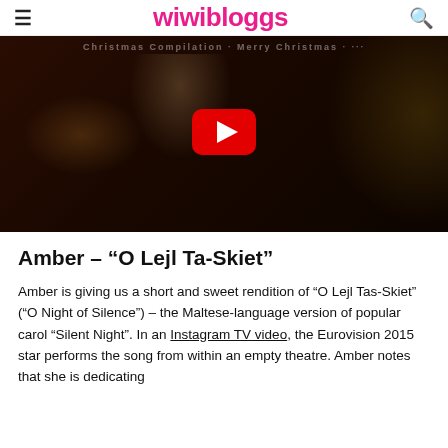wiwibloggs
[Figure (screenshot): YouTube video thumbnail showing a blonde woman in a red dress decorating a Christmas tree in a warmly lit room. A large red YouTube play button is overlaid in the center. Faint text visible at top reading 'Christmas Compilation' style header.]
Amber – “O Lejl Ta-Skiet”
Amber is giving us a short and sweet rendition of “O Lejl Tas-Skiet” (“O Night of Silence”) – the Maltese-language version of popular carol “Silent Night”. In an Instagram TV video, the Eurovision 2015 star performs the song from within an empty theatre. Amber notes that she is dedicating